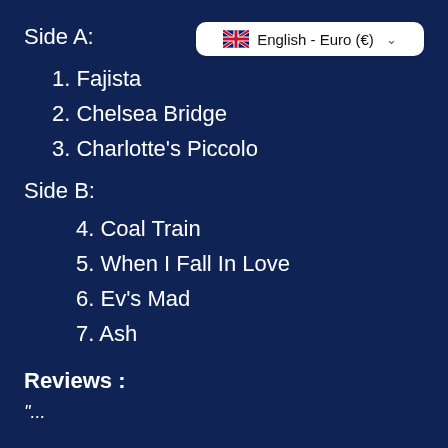Side A:
[Figure (other): Language/currency selector button showing UK flag and text 'English - Euro (€)' with dropdown chevron]
1. Fajista
2. Chelsea Bridge
3. Charlotte's Piccolo
Side B:
4. Coal Train
5. When I Fall In Love
6. Ev's Mad
7. Ash
Reviews :
"...